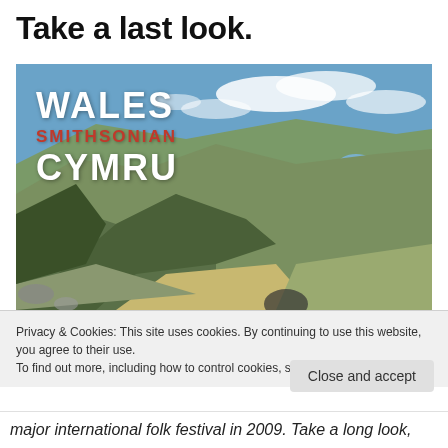Take a last look.
[Figure (photo): Landscape photograph of rolling green hills in Wales with blue cloudy sky. Overlaid text reads 'WALES SMITHSONIAN CYMRU' in white and red bold letters.]
Privacy & Cookies: This site uses cookies. By continuing to use this website, you agree to their use.
To find out more, including how to control cookies, see here: Cookie Policy
Close and accept
major international folk festival in 2009. Take a long look,